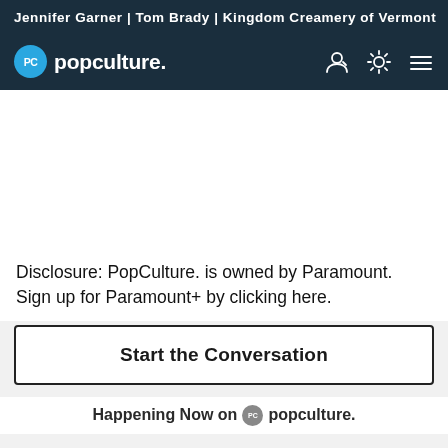Jennifer Garner | Tom Brady | Kingdom Creamery of Vermont
[Figure (logo): PopCulture.com navigation bar with circular PC logo and site name 'popculture.' with user icon, brightness toggle, and hamburger menu icons]
Disclosure: PopCulture. is owned by Paramount. Sign up for Paramount+ by clicking here.
Start the Conversation
Happening Now on popculture.